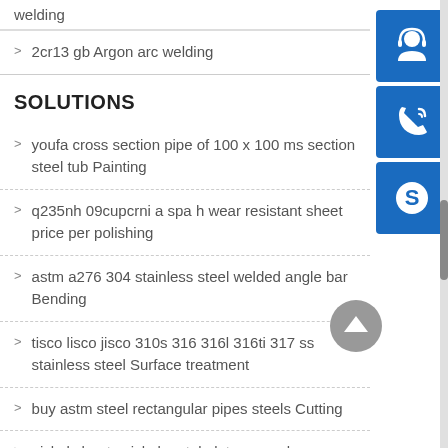welding
2cr13 gb Argon arc welding
SOLUTIONS
youfa cross section pipe of 100 x 100 ms section steel tub Painting
q235nh 09cupcrni a spa h wear resistant sheet price per polishing
astm a276 304 stainless steel welded angle bar Bending
tisco lisco jisco 310s 316 316l 316ti 317 ss stainless steel Surface treatment
buy astm steel rectangular pipes steels Cutting
nickel sheets nickel metal plates on sale Grinding